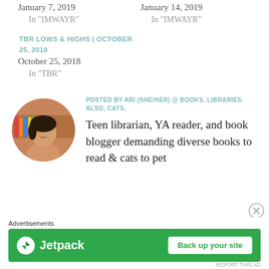January 7, 2019
In "IMWAYR"
January 14, 2019
In "IMWAYR"
TBR LOWS & HIGHS | OCTOBER 25, 2018
October 25, 2018
In "TBR"
POSTED BY ARI (SHE/HER) @ BOOKS. LIBRARIES. ALSO, CATS.
Teen librarian, YA reader, and book blogger demanding diverse books to read & cats to pet
[Figure (photo): Circular avatar photo of a young woman smiling next to a stack of colorful books]
Advertisements
[Figure (screenshot): Jetpack advertisement banner with green background showing Jetpack logo and 'Back up your site' button]